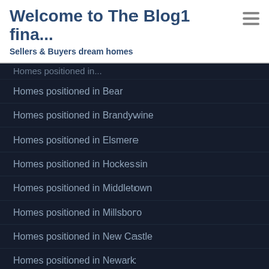Welcome to The Blog1 fina...
Sellers & Buyers dream homes
Homes positioned in Bear
Homes positioned in Brandywine
Homes positioned in Elsmere
Homes positioned in Hockessin
Homes positioned in Middletown
Homes positioned in Millsboro
Homes positioned in New Castle
Homes positioned in Newark
Homes positioned in Philadelphia
Homes positioned in Rehoboth Beach
Homes situated in Baltimore
Homes situated in Bear
Homes situated in Brandywine
Homes situated in Middletown
Homes situated in Millsboro
Homes situated in New Castle